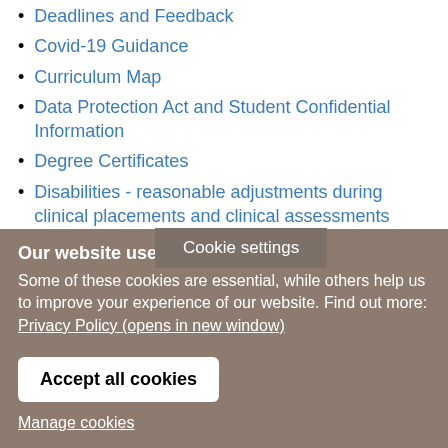Deadlines and Feedback
Covid-19 Guidance
Curriculum Map
Data Protection Act and Student Confidential Information
Degree Certificates
Disabilities - reasonable adjustments during clinical placements and clinical assessments
Disclosure and Barring Service checks
Discrimination
Cookie settings
Our website uses cookies
Some of these cookies are essential, while others help us to improve your experience of our website. Find out more:
Privacy Policy (opens in new window)
Accept all cookies
Manage cookies